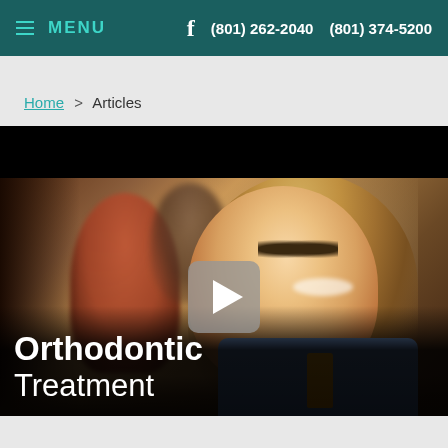≡ MENU   f   (801) 262-2040   (801) 374-5200
Home > Articles
[Figure (photo): Video thumbnail showing a smiling teenage girl with long blonde hair at a restaurant, with a play button overlay and text 'Orthodontic Treatment' at the bottom left. Dark bar at top.]